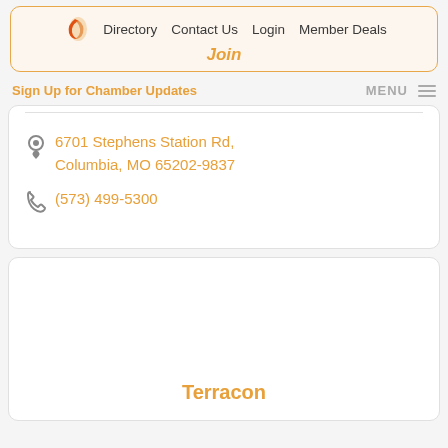Directory  Contact Us  Login  Member Deals  Join
Sign Up for Chamber Updates
MENU
6701 Stephens Station Rd, Columbia, MO 65202-9837
(573) 499-5300
Terracon